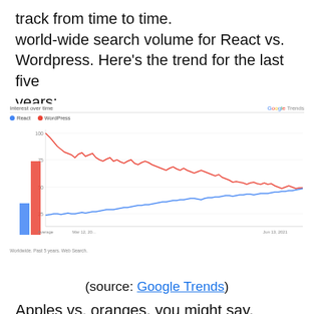track from time to time. world-wide search volume for React vs. Wordpress. Here's the trend for the last five years:
[Figure (continuous-plot): Google Trends line chart showing 'Interest over time' for React (blue) and WordPress (red) over the past 5 years (Mar 12, 2016 to Jun 13, 2021). WordPress starts near 100 and trends down to ~40, React starts near 25 and trends up to ~40, with the two lines converging near the end. Also shows average bar chart on the left side.]
Worldwide. Past 5 years. Web Search.
(source: Google Trends)
Apples vs. oranges, you might say,